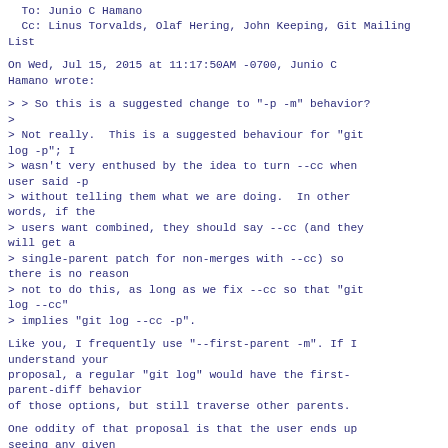To: Junio C Hamano
  Cc: Linus Torvalds, Olaf Hering, John Keeping, Git Mailing List
On Wed, Jul 15, 2015 at 11:17:50AM -0700, Junio C Hamano wrote:
> > So this is a suggested change to "-p -m" behavior?
>
> Not really.  This is a suggested behaviour for "git log -p"; I
> wasn't very enthused by the idea to turn --cc when user said -p
> without telling them what we are doing.  In other words, if the
> users want combined, they should say --cc (and they will get a
> single-parent patch for non-merges with --cc) so there is no reason
> not to do this, as long as we fix --cc so that "git log --cc"
> implies "git log --cc -p".
Like you, I frequently use "--first-parent -m". If I understand your
proposal, a regular "git log" would have the first-parent-diff behavior
of those options, but still traverse other parents.
One oddity of that proposal is that the user ends up
seeing any given